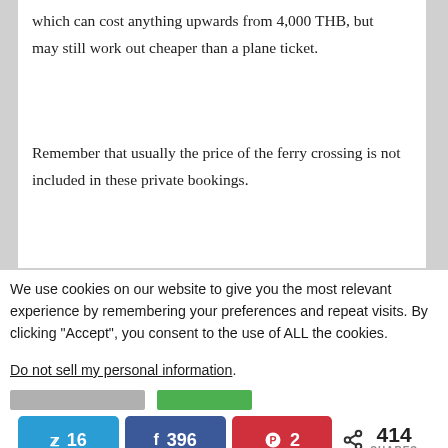which can cost anything upwards from 4,000 THB, but may still work out cheaper than a plane ticket.
Remember that usually the price of the ferry crossing is not included in these private bookings.
We use cookies on our website to give you the most relevant experience by remembering your preferences and repeat visits. By clicking "Accept", you consent to the use of ALL the cookies.
Do not sell my personal information.
[Figure (screenshot): Social share buttons row: Twitter (16 shares), Facebook (396 shares), Pinterest (2 shares), and total 414 SHARES counter with share icon.]